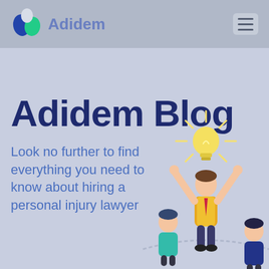Adidem
Adidem Blog
Look no further to find everything you need to know about hiring a personal injury lawyer
[Figure (illustration): Illustration of people with one person raising arms toward a glowing lightbulb above their head, representing ideas or success in legal hiring context]